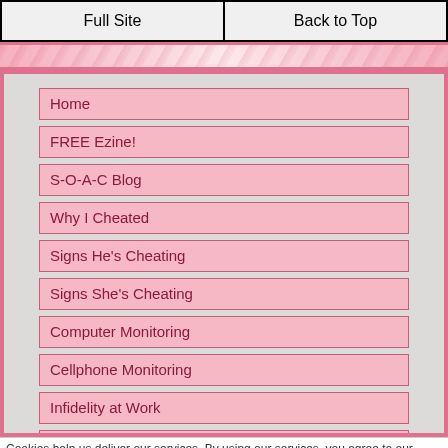Full Site | Back to Top
Home
FREE Ezine!
S-O-A-C Blog
Why I Cheated
Signs He's Cheating
Signs She's Cheating
Computer Monitoring
Cellphone Monitoring
Infidelity at Work
Internet Infidelity
Infidelity Resources
Catch Them Cheating
Cheating Spouse Forum
Surviving Infidelity
Songs on Cheating
Cookies help us deliver our services. By using our services, you agree to our